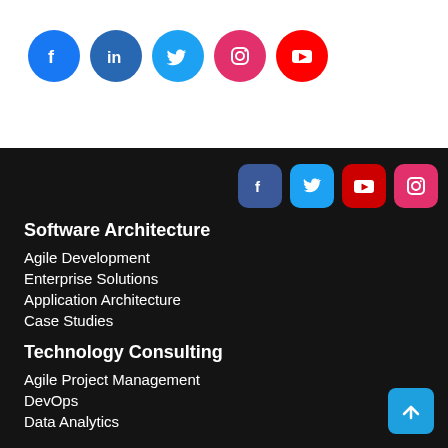[Figure (logo): Row of 5 social media icon circles: Facebook (blue), LinkedIn (blue), Twitter (light blue), Instagram (pink/magenta), YouTube (red)]
[Figure (logo): Row of 4 social media icon rounded squares in footer: Facebook (dark blue), Twitter (light blue), YouTube (red), Instagram (pink)]
Software Architecture
Agile Development
Enterprise Solutions
Application Architecture
Case Studies
Technology Consulting
Agile Project Management
DevOps
Data Analytics